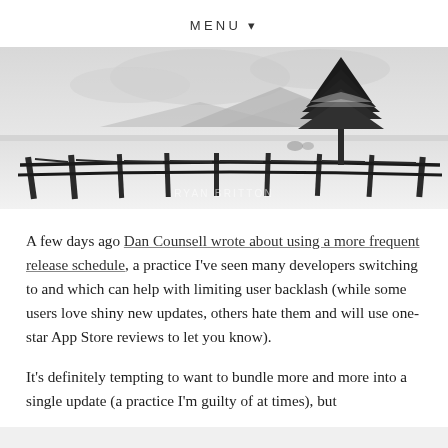MENU ▾
[Figure (photo): Black and white winter landscape photo with a lone evergreen tree in the background, a wooden rail fence in the foreground, and snow-covered ground. A mountain range is visible in the distance. Watermark reads RYAN BRITTON.]
A few days ago Dan Counsell wrote about using a more frequent release schedule, a practice I've seen many developers switching to and which can help with limiting user backlash (while some users love shiny new updates, others hate them and will use one-star App Store reviews to let you know).
It's definitely tempting to want to bundle more and more into a single update (a practice I'm guilty of at times), but